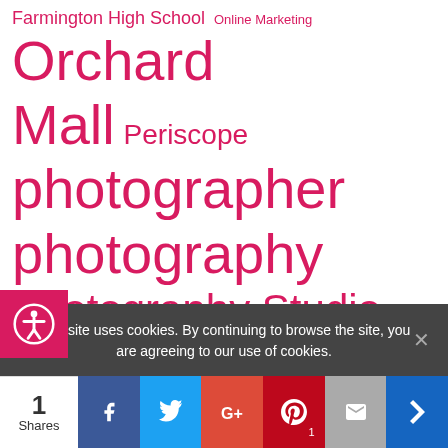Farmington High School Online Marketing Orchard Mall Periscope photographer photography Photography Studio Senior Pictures Senior Style Small Business owner social media twitter Vine West Bloomfield High School west bloomfield photographer
This site uses cookies. By continuing to browse the site, you are agreeing to our use of cookies.
1 Shares